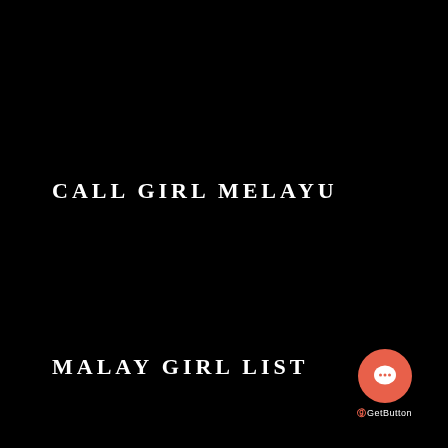CALL GIRL MELAYU
MALAY GIRL LIST
[Figure (logo): GetButton chat widget: a salmon/coral red circle with a white speech bubble icon, and 'GetButton' branding text below]